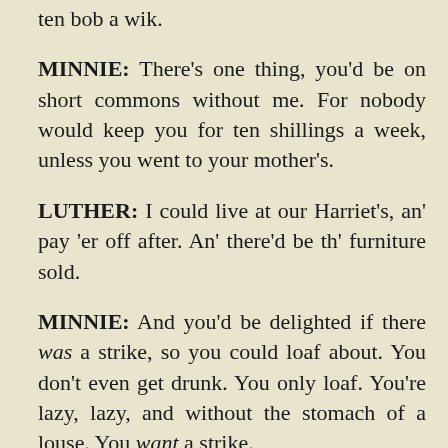ten bob a wik.
MINNIE: There's one thing, you'd be on short commons without me. For nobody would keep you for ten shillings a week, unless you went to your mother's.
LUTHER: I could live at our Harriet's, an' pay 'er off after. An' there'd be th' furniture sold.
MINNIE: And you'd be delighted if there was a strike, so you could loaf about. You don't even get drunk. You only loaf. You're lazy, lazy, and without the stomach of a louse. You want a strike.